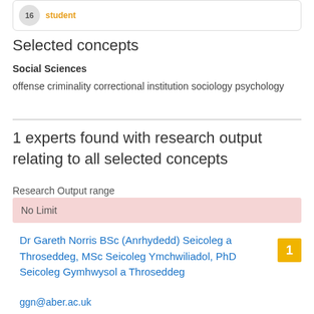[Figure (other): Badge showing number 16 and student label in a card]
Selected concepts
Social Sciences
offense criminality correctional institution sociology psychology
1 experts found with research output relating to all selected concepts
Research Output range
No Limit
Dr Gareth Norris BSc (Anrhydedd) Seicoleg a Throseddeg, MSc Seicoleg Ymchwiliadol, PhD Seicoleg Gymhwysol a Throseddeg
ggn@aber.ac.uk